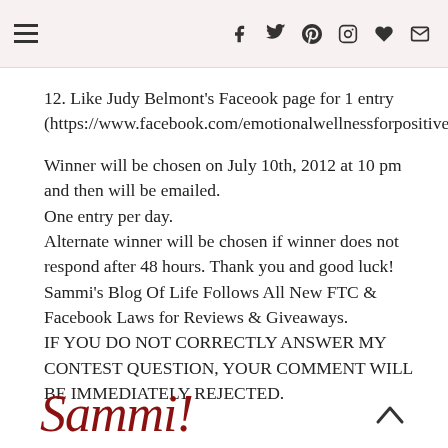[menu icon] [social icons: f, twitter, pinterest, instagram, heart, mail]
12. Like Judy Belmont's Faceook page for 1 entry (https://www.facebook.com/emotionalwellnessforpositiveliving)
Winner will be chosen on July 10th, 2012 at 10 pm and then will be emailed.
One entry per day.
Alternate winner will be chosen if winner does not respond after 48 hours. Thank you and good luck!
Sammi's Blog Of Life Follows All New FTC & Facebook Laws for Reviews & Giveaways.
IF YOU DO NOT CORRECTLY ANSWER MY CONTEST QUESTION, YOUR COMMENT WILL BE IMMEDIATELY REJECTED.
[Figure (illustration): Cursive script signature reading 'Sammi!' in dark red/maroon color]
[Figure (other): An upward-pointing chevron/caret arrow icon for back-to-top navigation]